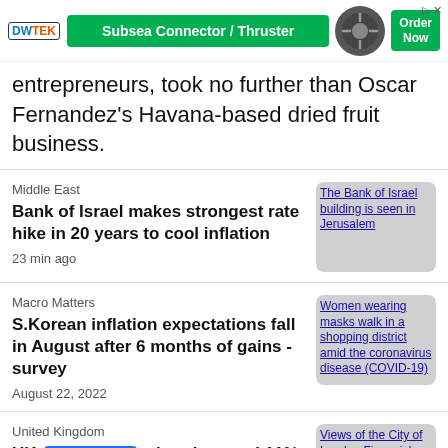[Figure (infographic): Advertisement banner for DWTEK Subsea Connector / Thruster with green background, logo, product image and Order Now button]
entrepreneurs, took no further than Oscar Fernandez's Havana-based dried fruit business.
Middle East
Bank of Israel makes strongest rate hike in 20 years to cool inflation
23 min ago
[Figure (photo): The Bank of Israel building is seen in Jerusalem]
Macro Matters
S.Korean inflation expectations fall in August after 6 months of gains - survey
August 22, 2022
[Figure (photo): Women wearing masks walk in a shopping district amid the coronavirus disease (COVID-19)]
United Kingdom
UK economy shrank record 11% in 20... since 1709
[Figure (photo): Views of the City of London Financial District]